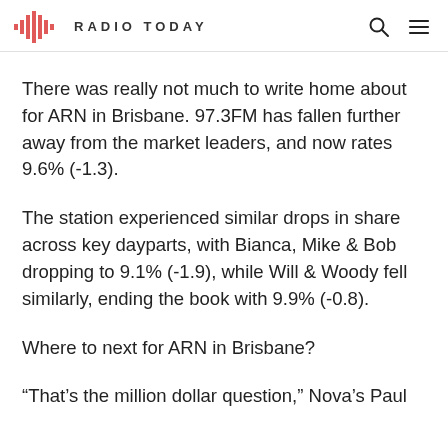RADIO TODAY
There was really not much to write home about for ARN in Brisbane. 97.3FM has fallen further away from the market leaders, and now rates 9.6% (-1.3).
The station experienced similar drops in share across key dayparts, with Bianca, Mike & Bob dropping to 9.1% (-1.9), while Will & Woody fell similarly, ending the book with 9.9% (-0.8).
Where to next for ARN in Brisbane?
“That’s the million dollar question,” Nova’s Paul